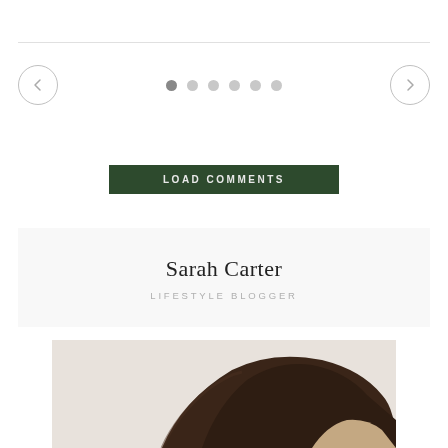[Figure (screenshot): Carousel navigation with prev/next arrow buttons and 6 dots indicator (first dot active)]
LOAD COMMENTS
Sarah Carter
LIFESTYLE BLOGGER
[Figure (photo): Partial photo of a woman with dark brown hair, hand near head, light background]